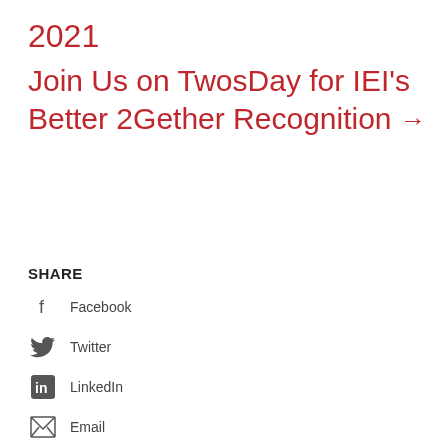2021
Join Us on TwosDay for IEI's Better 2Gether Recognition →
SHARE
Facebook
Twitter
LinkedIn
Email